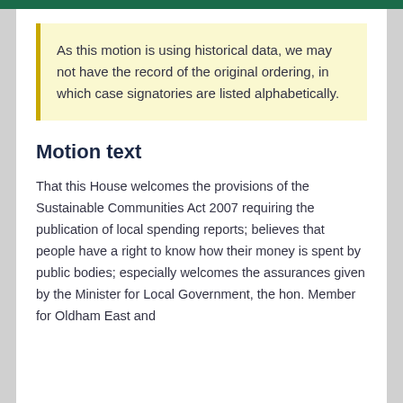As this motion is using historical data, we may not have the record of the original ordering, in which case signatories are listed alphabetically.
Motion text
That this House welcomes the provisions of the Sustainable Communities Act 2007 requiring the publication of local spending reports; believes that people have a right to know how their money is spent by public bodies; especially welcomes the assurances given by the Minister for Local Government, the hon. Member for Oldham East and